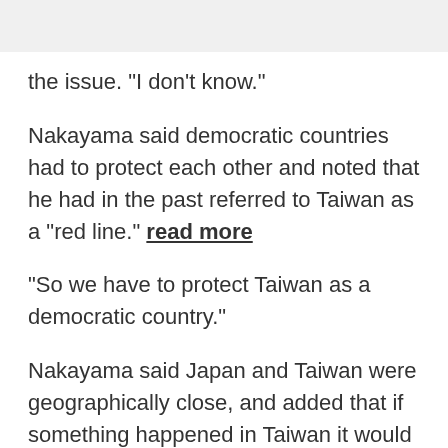the issue. "I don't know."
Nakayama said democratic countries had to protect each other and noted that he had in the past referred to Taiwan as a "red line." read more
"So we have to protect Taiwan as a democratic country."
Nakayama said Japan and Taiwan were geographically close, and added that if something happened in Taiwan it would affect Japan's Okinawa prefecture, where U.S. forces and their families are based.